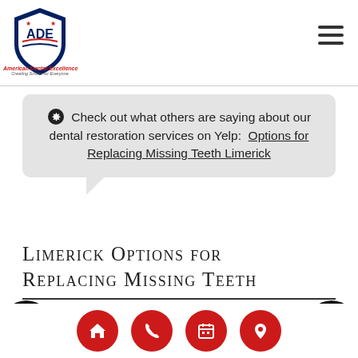[Figure (logo): American Dental Excellence (ADE) logo with shield/eagle emblem, red and blue colors, with tagline 'Creating Smiles for Everyone']
Check out what others are saying about our dental restoration services on Yelp: Options for Replacing Missing Teeth Limerick
LIMERICK OPTIONS FOR REPLACING MISSING TEETH
WILL MY MISSING TOOTH REPLACEMENT OPTIONS BE